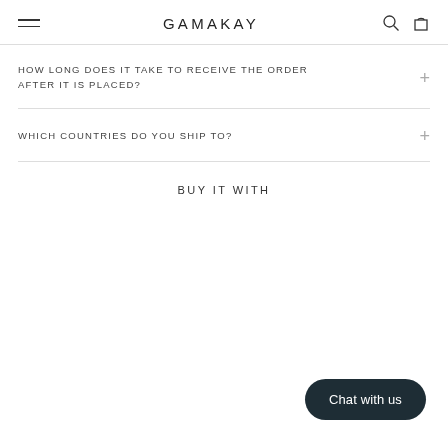GAMAKAY
HOW LONG DOES IT TAKE TO RECEIVE THE ORDER AFTER IT IS PLACED?
WHICH COUNTRIES DO YOU SHIP TO?
BUY IT WITH
Chat with us